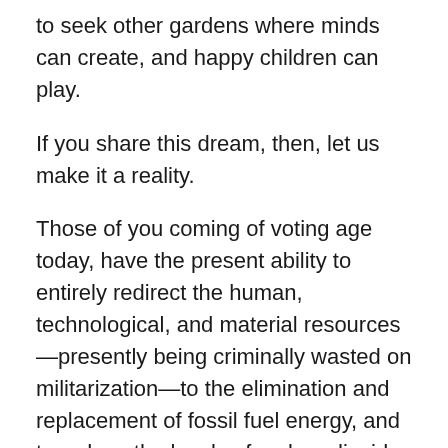to seek other gardens where minds can create, and happy children can play.
If you share this dream, then, let us make it a reality.
Those of you coming of voting age today, have the present ability to entirely redirect the human, technological, and material resources—presently being criminally wasted on militarization—to the elimination and replacement of fossil fuel energy, and to reduce the levels of carbon dioxide and methane in our atmosphere.
Within the next five years, you have the collective power to rebuild our transportation infrastructure and to energize our highways with solar energy collected in outer space and transmitted by microwaves to remote collectors on Earth, and you can entirely replace our fossil fuel power